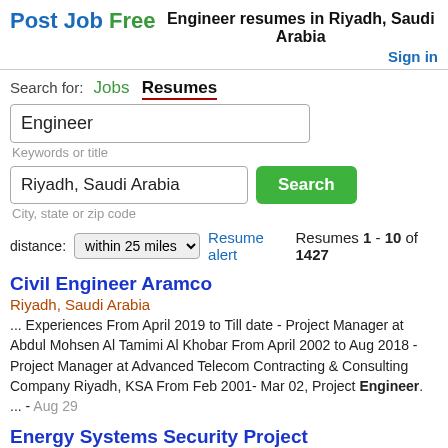Post Job Free  Engineer resumes in Riyadh, Saudi Arabia  Sign in
Search for: Jobs Resumes
Engineer
Keywords or title
Riyadh, Saudi Arabia
City, state or zip code
distance: within 25 miles  Resume alert  Resumes 1 - 10 of 1427
Civil Engineer Aramco
Riyadh, Saudi Arabia
... Experiences From April 2019 to Till date - Project Manager at Abdul Mohsen Al Tamimi Al Khobar From April 2002 to Aug 2018 - Project Manager at Advanced Telecom Contracting & Consulting Company Riyadh, KSA From Feb 2001- Mar 02, Project Engineer. ... - Aug 29
Energy Systems Security Project
Riyadh, Saudi Arabia
... Qualification: • Diploma of Associate Engineer. (Electrical) From